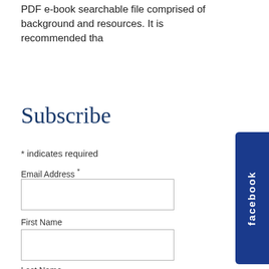PDF e-book searchable file comprised of background and resources. It is recommended tha
Subscribe
* indicates required
Email Address *
First Name
Last Name
[Figure (other): Facebook social media sidebar tab button with 'facebook' text written vertically in white on dark blue background]